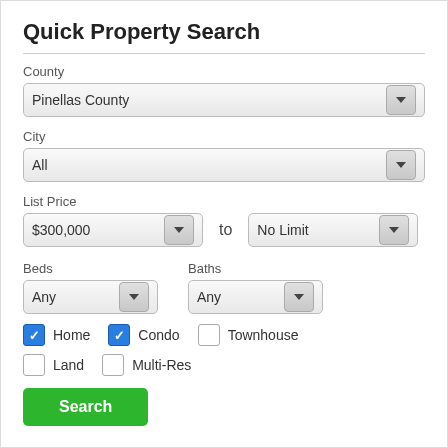Quick Property Search
County
Pinellas County
City
All
List Price
$300,000
to
No Limit
Beds
Any
Baths
Any
Home (checked)
Condo (checked)
Townhouse (unchecked)
Land (unchecked)
Multi-Res (unchecked)
Search